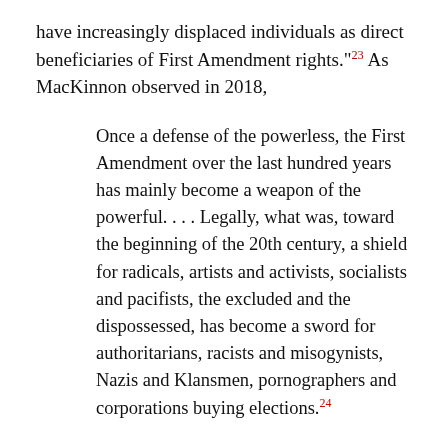have increasingly displaced individuals as direct beneficiaries of First Amendment rights."23 As MacKinnon observed in 2018,
Once a defense of the powerless, the First Amendment over the last hundred years has mainly become a weapon of the powerful. . . . Legally, what was, toward the beginning of the 20th century, a shield for radicals, artists and activists, socialists and pacifists, the excluded and the dispossessed, has become a sword for authoritarians, racists and misogynists, Nazis and Klansmen, pornographers and corporations buying elections.24
The creation of the right to free speech itself, and its subsequent interpretation and application over two